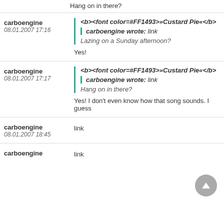Hang on in there?
<b><font color=#FF1493>»Custard Pie«</b>
carboengine wrote: link
Lazing on a Sunday afternoon?
carboengine
08.01.2007 17:16
Yes!
<b><font color=#FF1493>»Custard Pie«</b>
carboengine wrote: link
Hang on in there?
carboengine
08.01.2007 17:17
Yes! I don't even know how that song sounds. I guess
carboengine
08.01.2007 18:45
link
carboengine
08.01.2007 19:17
link